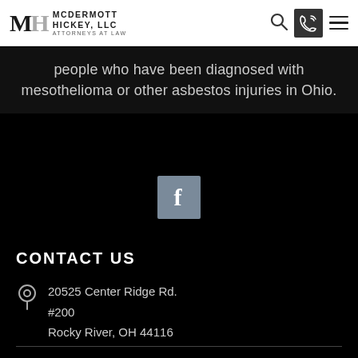McDermott Hickey, LLC – Attorneys at Law
people who have been diagnosed with mesothelioma or other asbestos injuries in Ohio.
[Figure (logo): Facebook icon — gray square with white 'f' letter]
CONTACT US
20525 Center Ridge Rd.
#200
Rocky River, OH 44116